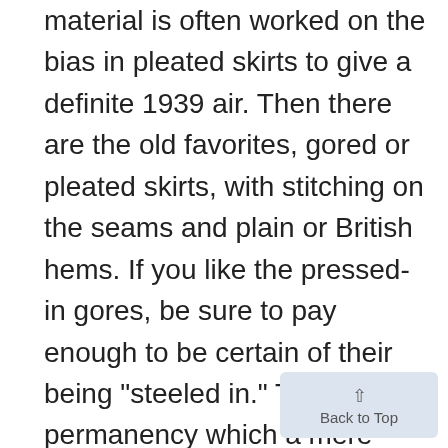material is often worked on the bias in pleated skirts to give a definite 1939 air. Then there are the old favorites, gored or pleated skirts, with stitching on the seams and plain or British hems. If you like the pressed-in gores, be sure to pay enough to be certain of their being "steeled in." This insures permanency which a mere pressed-in gore will not have. And it's a good idea to have zipper plackets in all your skirts. New Jersey Pullover A new idea to wear with skirts is